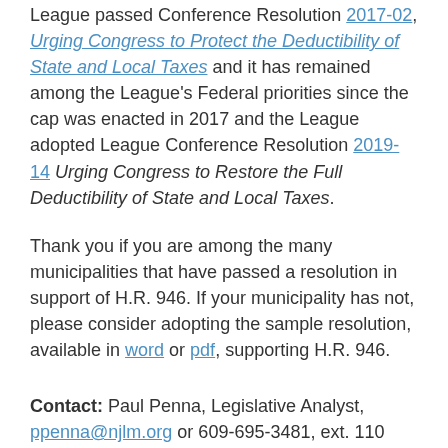League passed Conference Resolution 2017-02, Urging Congress to Protect the Deductibility of State and Local Taxes and it has remained among the League's Federal priorities since the cap was enacted in 2017 and the League adopted League Conference Resolution 2019-14 Urging Congress to Restore the Full Deductibility of State and Local Taxes.
Thank you if you are among the many municipalities that have passed a resolution in support of H.R. 946. If your municipality has not, please consider adopting the sample resolution, available in word or pdf, supporting H.R. 946.
Contact: Paul Penna, Legislative Analyst, ppenna@njlm.org or 609-695-3481, ext. 110